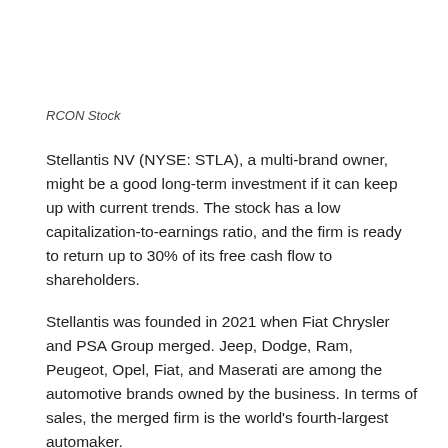RCON Stock
Stellantis NV (NYSE: STLA), a multi-brand owner, might be a good long-term investment if it can keep up with current trends. The stock has a low capitalization-to-earnings ratio, and the firm is ready to return up to 30% of its free cash flow to shareholders.
Stellantis was founded in 2021 when Fiat Chrysler and PSA Group merged. Jeep, Dodge, Ram, Peugeot, Opel, Fiat, and Maserati are among the automotive brands owned by the business. In terms of sales, the merged firm is the world's fourth-largest automaker.